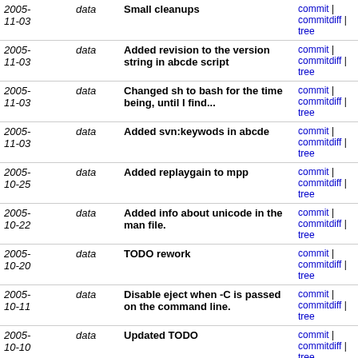| Date | Type | Message | Links |
| --- | --- | --- | --- |
| 2005-11-03 | data | Small cleanups | commit | commitdiff | tree |
| 2005-11-03 | data | Added revision to the version string in abcde script | commit | commitdiff | tree |
| 2005-11-03 | data | Changed sh to bash for the time being, until I find... | commit | commitdiff | tree |
| 2005-11-03 | data | Added svn:keywods in abcde | commit | commitdiff | tree |
| 2005-10-25 | data | Added replaygain to mpp | commit | commitdiff | tree |
| 2005-10-22 | data | Added info about unicode in the man file. | commit | commitdiff | tree |
| 2005-10-20 | data | TODO rework | commit | commitdiff | tree |
| 2005-10-11 | data | Disable eject when -C is passed on the command line. | commit | commitdiff | tree |
| 2005-10-10 | data | Updated TODO | commit | commitdiff | tree |
| 2005-10-09 | data | r201@frost: data | 2005-10-09 23:33:37 +0300
r201@frost: data | 2005-10-09 23:33:37 +0300 | commit | commitdiff | tree |
| 2005-10-07 | data | r199@frost: data | 2005-10-07 21:17:07 +0300
r199@frost: data | 2005-10-07 21:17:07 +0300 | commit | commitdiff | tree |
| 2005-10-07 | data | r197@frost: data | 2005-10-07 18:22:25 +0300 | commit | commitdiff | tree |